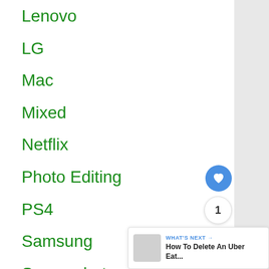Lenovo
LG
Mac
Mixed
Netflix
Photo Editing
PS4
Samsung
Screenshot
Server
Shopping
Tech